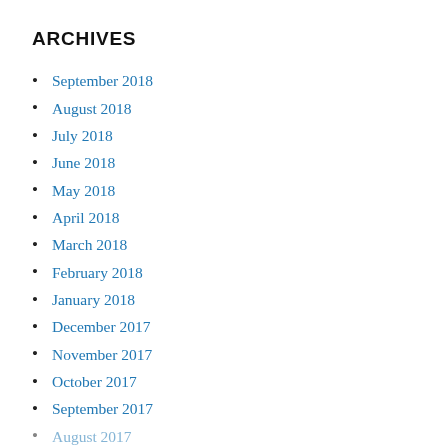ARCHIVES
September 2018
August 2018
July 2018
June 2018
May 2018
April 2018
March 2018
February 2018
January 2018
December 2017
November 2017
October 2017
September 2017
August 2017